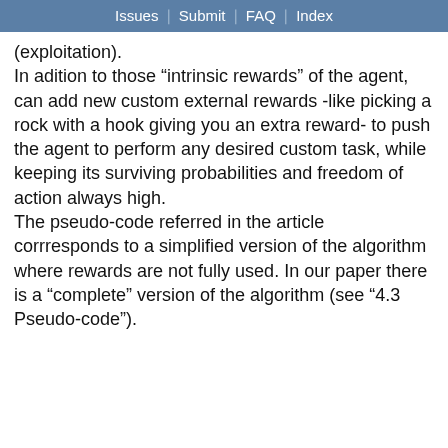Issues | Submit | FAQ | Index
(exploitation).
In adition to those “intrinsic rewards” of the agent, can add new custom external rewards -like picking a rock with a hook giving you an extra reward- to push the agent to perform any desired custom task, while keeping its surviving probabilities and freedom of action always high.
The pseudo-code referred in the article corrresponds to a simplified version of the algorithm where rewards are not fully used. In our paper there is a “complete” version of the algorithm (see “4.3 Pseudo-code”).